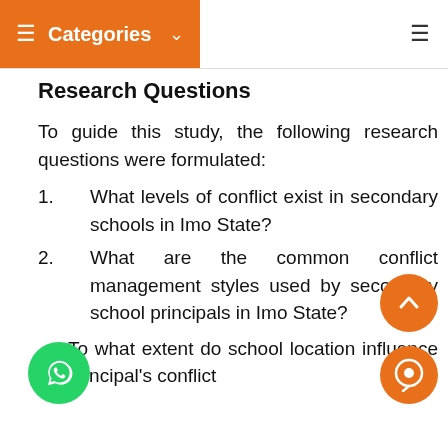Categories
Research Questions
To guide this study, the following research questions were formulated:
1.   What levels of conflict exist in secondary schools in Imo State?
2.   What are the common conflict management styles used by secondary school principals in Imo State?
To what extent do school location influence principal's conflict